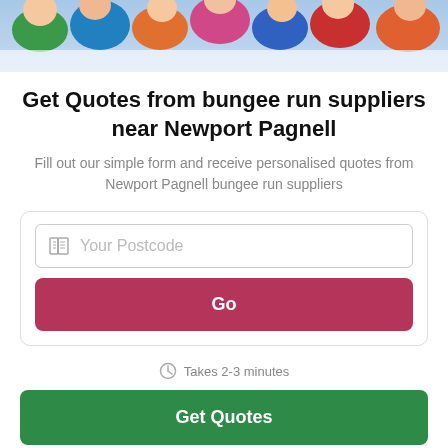[Figure (photo): Photo banner showing group of happy people smiling, cropped at top of page]
Get Quotes from bungee run suppliers near Newport Pagnell
Fill out our simple form and receive personalised quotes from Newport Pagnell bungee run suppliers
[Figure (infographic): Form card with postcode input field showing placeholder 'Your Postcode' with map icon, and a dark pink 'Go' button]
Takes 2-3 minutes
Get Quotes
Takes 2-3 minutes